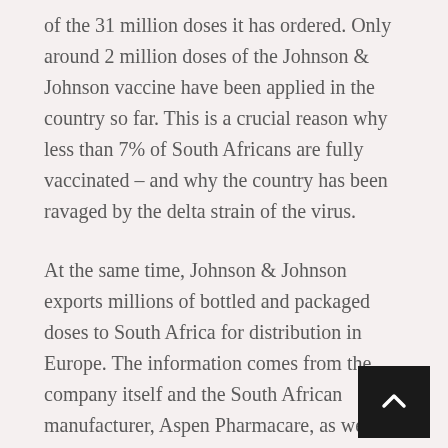of the 31 million doses it has ordered. Only around 2 million doses of the Johnson & Johnson vaccine have been applied in the country so far. This is a crucial reason why less than 7% of South Africans are fully vaccinated – and why the country has been ravaged by the delta strain of the virus.
At the same time, Johnson & Johnson exports millions of bottled and packaged doses to South Africa for distribution in Europe. The information comes from the company itself and the South African manufacturer, Aspen Pharmacare, as well as local government documents to which the New York Times has had access.
Glenda Gray, a South African scientist who helped J&J's clinical trial in the country, said companies should